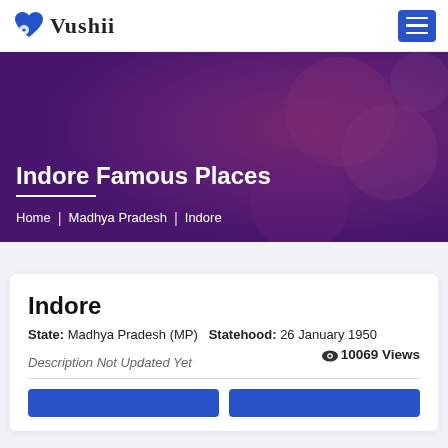Vushii
Indore Famous Places
Home | Madhya Pradesh | Indore
Indore
State: Madhya Pradesh (MP) Statehood: 26 January 1950  10069 Views
Description Not Updated Yet